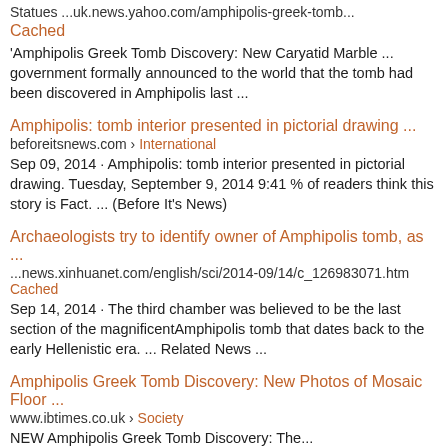Statues ...uk.news.yahoo.com/amphipolis-greek-tomb...
Cached
'Amphipolis Greek Tomb Discovery: New Caryatid Marble ... government formally announced to the world that the tomb had been discovered in Amphipolis last ...
Amphipolis: tomb interior presented in pictorial drawing ...
beforeitsnews.com › International
Sep 09, 2014 · Amphipolis: tomb interior presented in pictorial drawing. Tuesday, September 9, 2014 9:41 % of readers think this story is Fact. ... (Before It's News)
Archaeologists try to identify owner of Amphipolis tomb, as ...news.xinhuanet.com/english/sci/2014-09/14/c_126983071.htm Cached
Sep 14, 2014 · The third chamber was believed to be the last section of the magnificentAmphipolis tomb that dates back to the early Hellenistic era. ... Related News ...
Amphipolis Greek Tomb Discovery: New Photos of Mosaic Floor ...
www.ibtimes.co.uk › Society
NEW Amphipolis Greek Tomb Discovery: The...